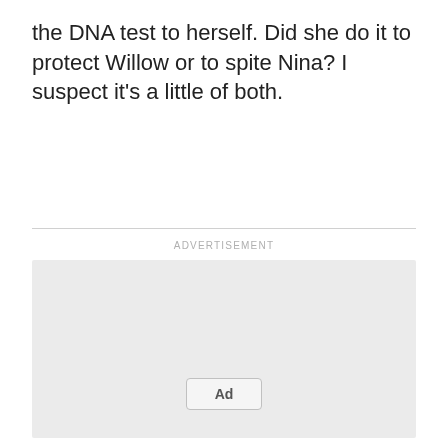the DNA test to herself. Did she do it to protect Willow or to spite Nina? I suspect it's a little of both.
[Figure (other): Advertisement placeholder box with 'ADVERTISEMENT' label above and an 'Ad' button at the bottom center]